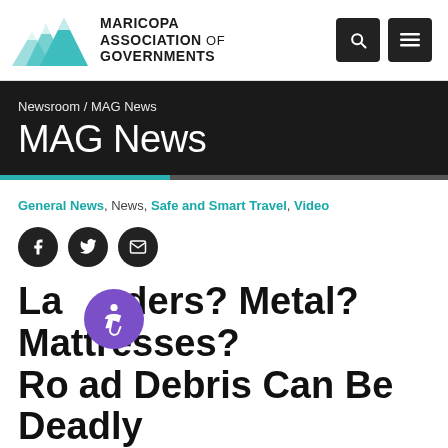[Figure (logo): Maricopa Association of Governments logo with teal mountain peaks and bold text]
Newsroom / MAG News
MAG News
General News, News, Safe and Smart Travel, Video
Ladders? Metal? Mattresses? Road Debris Can Be Deadly